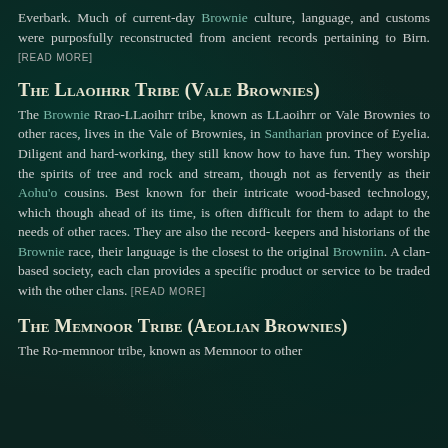Everbark. Much of current-day Brownie culture, language, and customs were purposfully reconstructed from ancient records pertaining to Birn. [READ MORE]
The Llaoihrr Tribe (Vale Brownies)
The Brownie Rrao-LLaoihrr tribe, known as LLaoihrr or Vale Brownies to other races, lives in the Vale of Brownies, in Santharian province of Eyelia. Diligent and hard-working, they still know how to have fun. They worship the spirits of tree and rock and stream, though not as fervently as their Aohu'o cousins. Best known for their intricate wood-based technology, which though ahead of its time, is often difficult for them to adapt to the needs of other races. They are also the record-keepers and historians of the Brownie race, their language is the closest to the original Browniin. A clan-based society, each clan provides a specific product or service to be traded with the other clans. [READ MORE]
The Memnoor Tribe (Aeolian Brownies)
The Ro-memnoor tribe, known as Memnoor to other